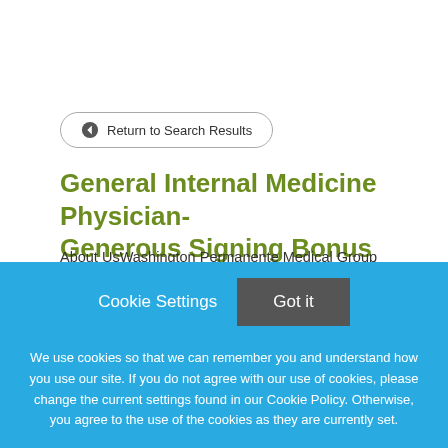← Return to Search Results
General Internal Medicine Physician- Generous Signing Bonus Offered
About UsWashington Permanente Medical Group (WPMG)
Cookie Settings
Got it
We use cookies so that we can remember you and understand how you use our site. If you do not agree with our use of cookies, please change the current settings found in our Cookie Policy. Otherwise, you agree to the use of the cookies as they are currently set.